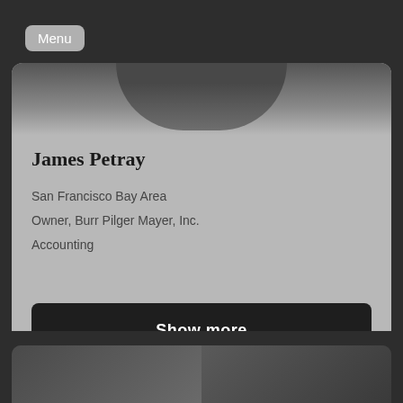[Figure (photo): Profile photo placeholder at top of card, dark silhouette shape]
James Petray
San Francisco Bay Area
Owner, Burr Pilger Mayer, Inc.
Accounting
Show more
[Figure (photo): Partial photo strip at bottom showing two faces, dark tones]